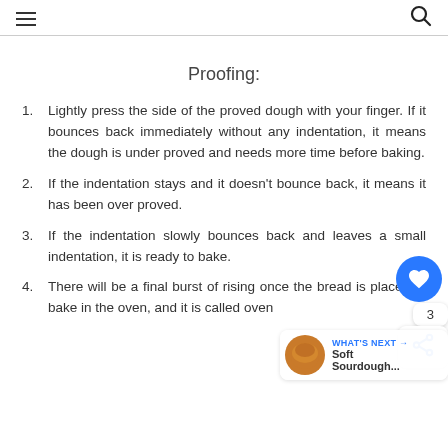Navigation header with hamburger menu and search icon
Proofing:
Lightly press the side of the proved dough with your finger. If it bounces back immediately without any indentation, it means the dough is under proved and needs more time before baking.
If the indentation stays and it doesn't bounce back, it means it has been over proved.
If the indentation slowly bounces back and leaves a small indentation, it is ready to bake.
There will be a final burst of rising once the bread is placed to bake in the oven, and it is called oven spring.